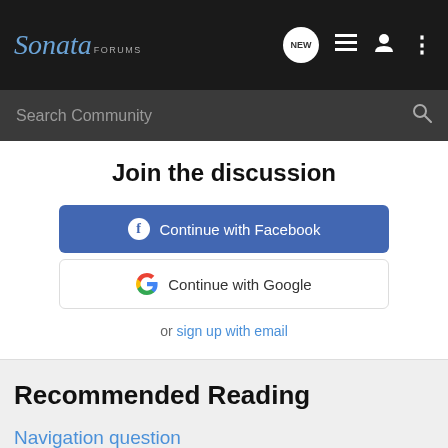Sonata FORUMS — navigation bar with NEW, list, user, and menu icons
Search Community
Join the discussion
Continue with Facebook
Continue with Google
or sign up with email
Recommended Reading
Navigation question
Hyundai Sonata General Discussion Forum